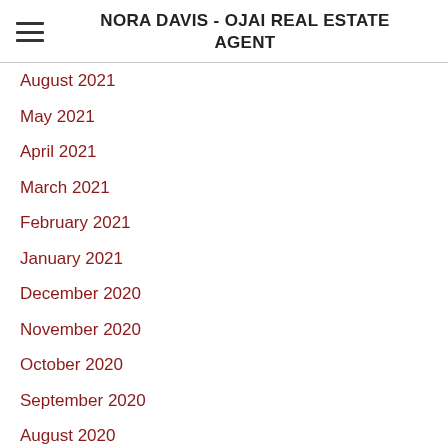NORA DAVIS - OJAI REAL ESTATE AGENT
August 2021
May 2021
April 2021
March 2021
February 2021
January 2021
December 2020
November 2020
October 2020
September 2020
August 2020
July 2020
May 2020
April 2020
March 2020
February 2020
January 2020
November 2019